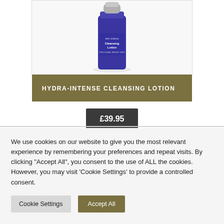[Figure (photo): A blue and silver bottle of Hydra-Intense Cleansing Lotion product on a white background]
HYDRA-INTENSE CLEANSING LOTION
£39.95
We use cookies on our website to give you the most relevant experience by remembering your preferences and repeat visits. By clicking "Accept All", you consent to the use of ALL the cookies. However, you may visit 'Cookie Settings' to provide a controlled consent.
Cookie Settings
Accept All